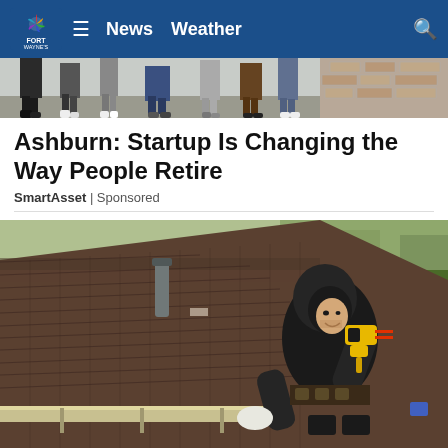News   Weather
[Figure (photo): Top image strip showing people standing, partial view of feet and lower bodies in outdoor setting]
Ashburn: Startup Is Changing the Way People Retire
SmartAsset | Sponsored
[Figure (photo): A worker wearing a black hoodie and gloves using a yellow power drill on a residential rooftop with brown shingles, with trees visible in background]